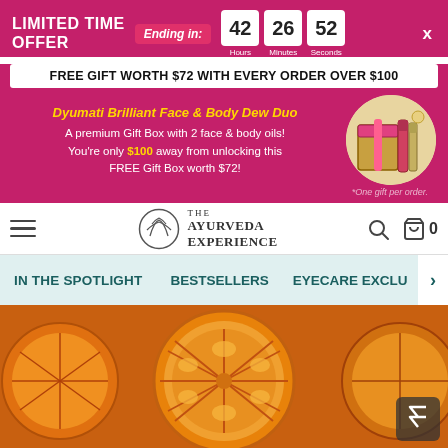LIMITED TIME OFFER
Ending in: 42 Hours 26 Minutes 52 Seconds
FREE GIFT WORTH $72 WITH EVERY ORDER OVER $100
Dyumati Brilliant Face & Body Dew Duo
A premium Gift Box with 2 face & body oils!
You're only $100 away from unlocking this FREE Gift Box worth $72!
*One gift per order.
[Figure (logo): The Ayurveda Experience logo with leaf/mountain emblem]
IN THE SPOTLIGHT    BESTSELLERS    EYECARE EXCLUS>
[Figure (photo): Close-up photo of sliced oranges with textured cross-sections]
Ajara Neroli Orange Nutritive Serum
An on-the-go refreshing, moisturizing staple for Dry Skin